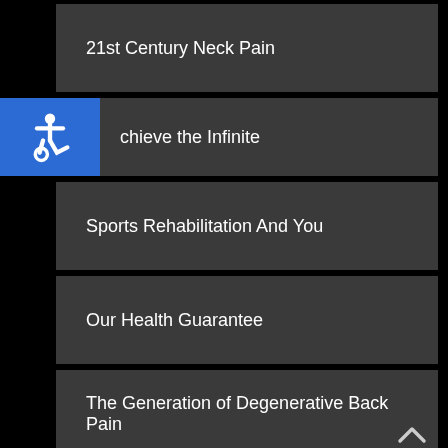21st Century Neck Pain
Achieve the Infinite
Sports Rehabilitation And You
Our Health Guarantee
The Generation of Degenerative Back Pain
A Drop of Nectar On Nutrition
Conditions Helped
Auto Accidents
Sciatica